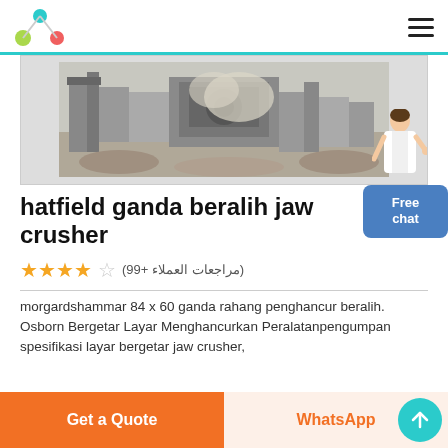Logo and navigation header
[Figure (photo): Industrial jaw crusher machinery at a quarry/mining site, showing heavy equipment with dust in the background]
hatfield ganda beralih jaw crusher
★★★★☆ (مراجعات العملاء +99)
morgardshammar 84 x 60 ganda rahang penghancur beralih. Osborn Bergetar Layar Menghancurkan Peralatanpengumpan spesifikasi layar bergetar jaw crusher,
Get a Quote
WhatsApp